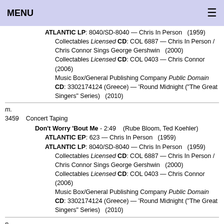MENU
ATLANTIC LP: 8040/SD-8040 — Chris In Person (1959) Collectables Licensed CD: COL 6887 — Chris In Person / Chris Connor Sings George Gershwin (2000) Collectables Licensed CD: COL 0403 — Chris Connor (2006) Music Box/General Publishing Company Public Domain CD: 3302174124 (Greece) — 'Round Midnight ("The Great Singers" Series) (2010)
m.
3459    Concert Taping
Don't Worry 'Bout Me - 2:49   (Rube Bloom, Ted Koehler)
ATLANTIC EP: 623 — Chris In Person (1959)
ATLANTIC LP: 8040/SD-8040 — Chris In Person (1959)
Collectables Licensed CD: COL 6887 — Chris In Person / Chris Connor Sings George Gershwin (2000) Collectables Licensed CD: COL 0403 — Chris Connor (2006) Music Box/General Publishing Company Public Domain CD: 3302174124 (Greece) — 'Round Midnight ("The Great Singers" Series) (2010)
n.
3460    Concert Taping